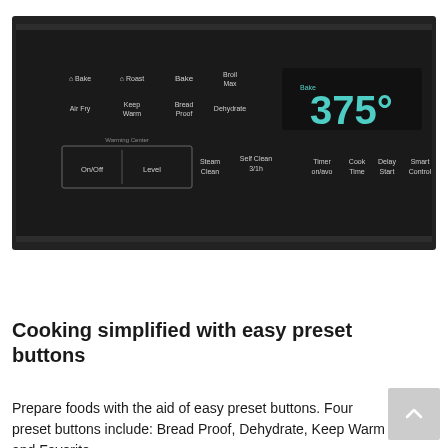[Figure (photo): Close-up photo of an oven control panel in black, showing buttons labeled: Bake (icon), Roast (icon), Bake, Broil/Max, Air Fry, Keep Warm, Bread Proof, Dehydrate, Warming Center On/Off and Level, Steam Clean, Self Clean 3/1h, Timer on/avo, Cook Time, Delay Start, Smart Control. A teal LED display shows '375°' with 'Bake' indicator above.]
Cooking simplified with easy preset buttons
Prepare foods with the aid of easy preset buttons. Four preset buttons include: Bread Proof, Dehydrate, Keep Warm and Favorite